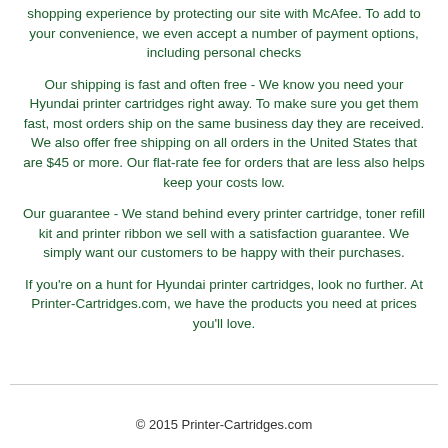shopping experience by protecting our site with McAfee. To add to your convenience, we even accept a number of payment options, including personal checks
Our shipping is fast and often free - We know you need your Hyundai printer cartridges right away. To make sure you get them fast, most orders ship on the same business day they are received. We also offer free shipping on all orders in the United States that are $45 or more. Our flat-rate fee for orders that are less also helps keep your costs low.
Our guarantee - We stand behind every printer cartridge, toner refill kit and printer ribbon we sell with a satisfaction guarantee. We simply want our customers to be happy with their purchases.
If you're on a hunt for Hyundai printer cartridges, look no further. At Printer-Cartridges.com, we have the products you need at prices you'll love.
© 2015 Printer-Cartridges.com